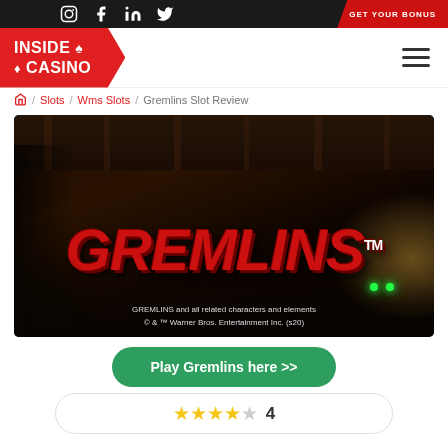Social icons and GET YOUR BONUS button
[Figure (logo): INSIDE CASINO logo in red banner with spade and diamond symbols]
Slots / Wms Slots / Gremlins Slot Review
[Figure (photo): Gremlins slot game banner with dark room background and red GREMLINS TM logo text. Copyright: GREMLINS and all related characters and elements © & TM Warner Bros. Entertainment Inc. (s20)]
Play Gremlins here >>
★★★★☆ 4